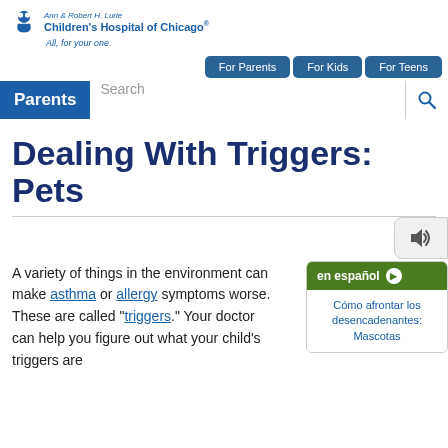Ann & Robert H. Lurie Children's Hospital of Chicago — All, for your one.
[Figure (logo): Ann & Robert H. Lurie Children's Hospital of Chicago logo with icon]
For Parents   For Kids   For Teens
Parents  Search
Dealing With Triggers: Pets
A variety of things in the environment can make asthma or allergy symptoms worse. These are called "triggers." Your doctor can help you figure out what your child's triggers are
en español ▶ Cómo afrontar los desencadenantes: Mascotas